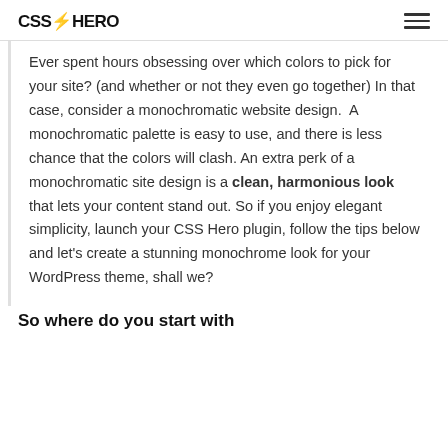CSS HERO
Ever spent hours obsessing over which colors to pick for your site? (and whether or not they even go together) In that case, consider a monochromatic website design.  A monochromatic palette is easy to use, and there is less chance that the colors will clash. An extra perk of a monochromatic site design is a clean, harmonious look that lets your content stand out. So if you enjoy elegant simplicity, launch your CSS Hero plugin, follow the tips below and let's create a stunning monochrome look for your WordPress theme, shall we?
So where do you start with